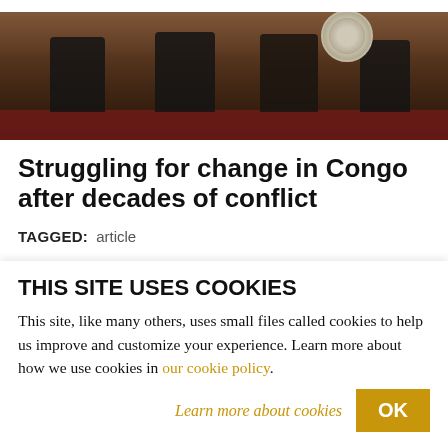[Figure (photo): Photo of officials seated at a formal ceremony, with a podium bearing an official seal on the right side. Red carpeting and decorative backdrop visible.]
Struggling for change in Congo after decades of conflict
TAGGED: article
WILLIAM FISHER
William Fisher has managed economic development programs for the U.S. State
THIS SITE USES COOKIES
This site, like many others, uses small files called cookies to help us improve and customize your experience. Learn more about how we use cookies in our cookie policy.
Learn more about cookies
OK